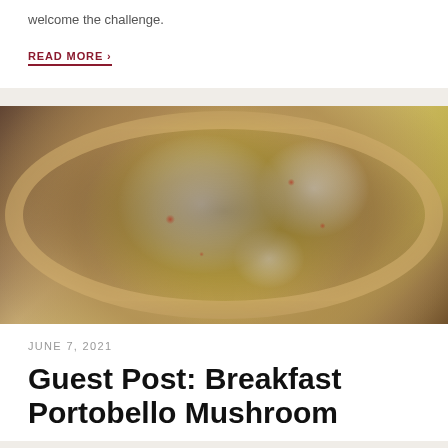welcome the challenge.
READ MORE ›
[Figure (photo): Overhead photo of a flatbread or tart topped with portobello mushrooms, poached eggs, and hollandaise sauce drizzled on top, garnished with herbs and red pepper flakes, on a round wooden board on a light wood surface.]
JUNE 7, 2021
Guest Post: Breakfast Portobello Mushroom